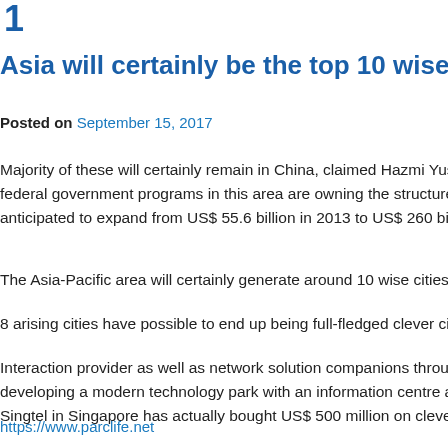1
Asia will certainly be the top 10 wise cities
Posted on September 15, 2017
Majority of these will certainly remain in China, claimed Hazmi Yusof, handling federal government programs in this area are owning the structure of smarter cities anticipated to expand from US$ 55.6 billion in 2013 to US$ 260 billion in 2020.
The Asia-Pacific area will certainly generate around 10 wise cities by 2025, a leading
8 arising cities have possible to end up being full-fledged clever cities by 2030 with
Interaction provider as well as network solution companions throughout Asia have developing a modern technology park with an information centre and also numerous Singtel in Singapore has actually bought US$ 500 million on clever city innovations
https://www.parclife.net